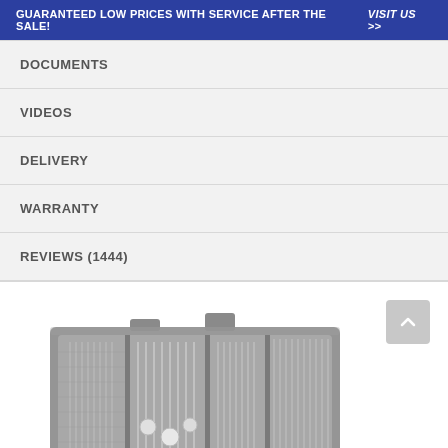GUARANTEED LOW PRICES WITH SERVICE AFTER THE SALE!   VISIT US >>
DOCUMENTS
VIDEOS
DELIVERY
WARRANTY
REVIEWS (1444)
[Figure (photo): Photo of a dishwasher cutlery tray/basket loaded with silverware and utensils, viewed from above at an angle, in gray plastic with metallic silverware arranged in compartments.]